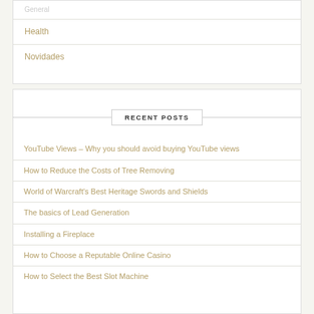General
Health
Novidades
RECENT POSTS
YouTube Views – Why you should avoid buying YouTube views
How to Reduce the Costs of Tree Removing
World of Warcraft's Best Heritage Swords and Shields
The basics of Lead Generation
Installing a Fireplace
How to Choose a Reputable Online Casino
How to Select the Best Slot Machine